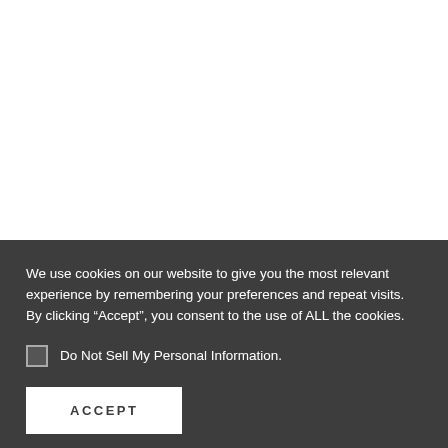We use cookies on our website to give you the most relevant experience by remembering your preferences and repeat visits. By clicking “Accept”, you consent to the use of ALL the cookies.
Do Not Sell My Personal Information.
ACCEPT